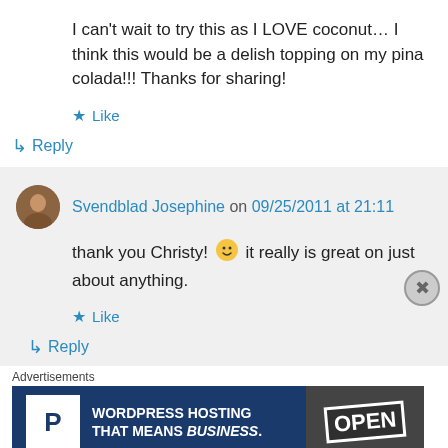I can't wait to try this as I LOVE coconut… I think this would be a delish topping on my pina colada!!! Thanks for sharing!
★ Like
↳ Reply
Svendblad Josephine on 09/25/2011 at 21:11
thank you Christy! 🙂 it really is great on just about anything.
★ Like
↳ Reply
Advertisements
[Figure (other): WordPress Hosting That Means Business advertisement banner with P logo and OPEN sign photo]